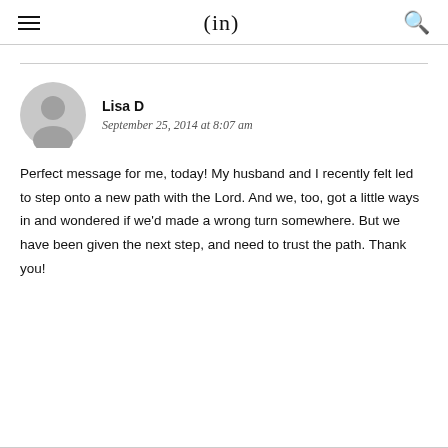(in)
Lisa D
September 25, 2014 at 8:07 am
Perfect message for me, today! My husband and I recently felt led to step onto a new path with the Lord. And we, too, got a little ways in and wondered if we'd made a wrong turn somewhere. But we have been given the next step, and need to trust the path. Thank you!